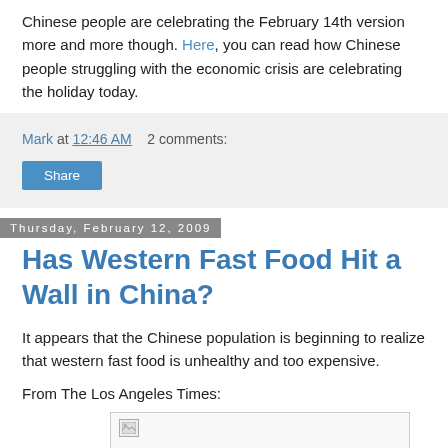Chinese people are celebrating the February 14th version more and more though. Here, you can read how Chinese people struggling with the economic crisis are celebrating the holiday today.
Mark at 12:46 AM    2 comments:
Share
Thursday, February 12, 2009
Has Western Fast Food Hit a Wall in China?
It appears that the Chinese population is beginning to realize that western fast food is unhealthy and too expensive.
From The Los Angeles Times:
[Figure (photo): Broken image placeholder]